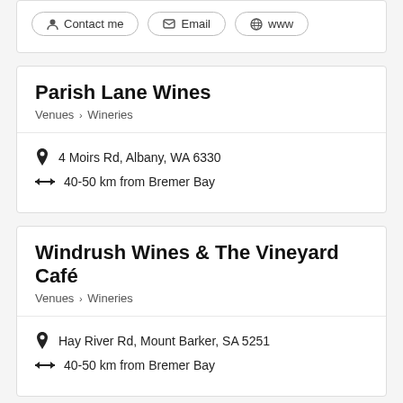Contact me | Email | www
Parish Lane Wines
Venues > Wineries
4 Moirs Rd, Albany, WA 6330
40-50 km from Bremer Bay
Windrush Wines & The Vineyard Café
Venues > Wineries
Hay River Rd, Mount Barker, SA 5251
40-50 km from Bremer Bay